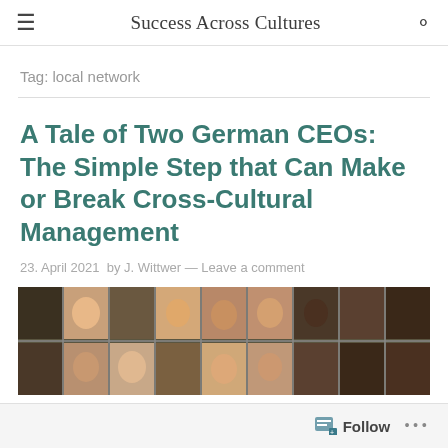Success Across Cultures
Tag: local network
A Tale of Two German CEOs: The Simple Step that Can Make or Break Cross-Cultural Management
23. April 2021  by J. Wittwer — Leave a comment
[Figure (photo): Grid of portrait photographs of diverse people]
Follow